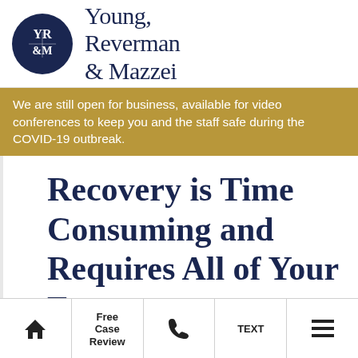[Figure (logo): Young, Reverman & Mazzei law firm logo with dark navy oval containing stylized YR&M letters and firm name in serif font]
We are still open for business, available for video conferences to keep you and the staff safe during the COVID-19 outbreak.
Recovery is Time Consuming and Requires All of Your Energy
Home | Free Case Review | Phone | TEXT | Menu